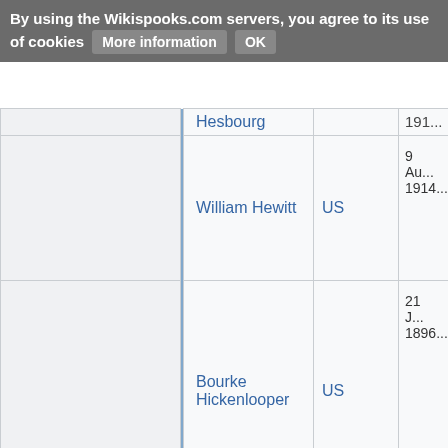By using the Wikispooks.com servers, you agree to its use of cookies   More information   OK
|  | Name | Country | Date |
| --- | --- | --- | --- |
|  | Hesbourg |  | 191... |
|  | William Hewitt | US | 9 Au... 1914... |
|  | Bourke Hickenlooper | US | 21 J... 1896... |
|  | John Hickenlooper | US | 7 Fe... 1952... |
|  | Carla Anderson Hills | US | 3 Ja... 1934... |